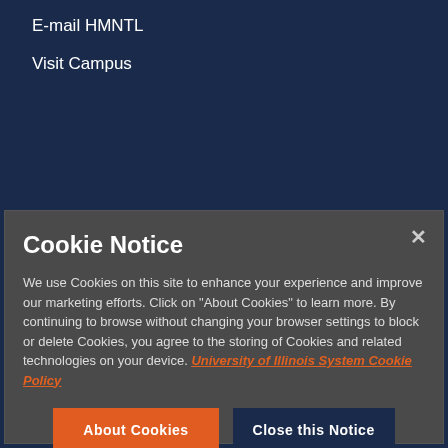E-mail HMNTL
Visit Campus
Cookie Notice
We use Cookies on this site to enhance your experience and improve our marketing efforts. Click on “About Cookies” to learn more. By continuing to browse without changing your browser settings to block or delete Cookies, you agree to the storing of Cookies and related technologies on your device. University of Illinois System Cookie Policy
About Cookies
Close this Notice